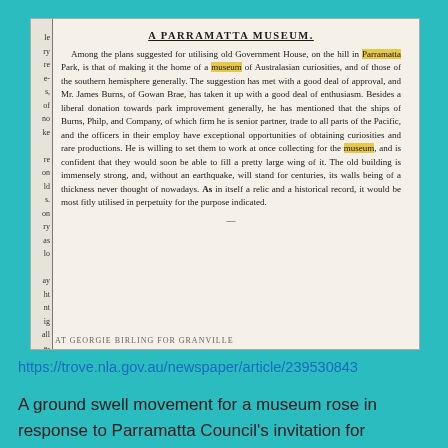[Figure (screenshot): Scanned newspaper clipping with teal/cyan background showing an article titled 'A PARRAMATTA MUSEUM' on aged newsprint, with left-side column letters visible and highlighted word 'museum' in the text.]
https://trove.nla.gov.au/newspaper/article/239530843
A ground swell movement for a museum rose in response to Parramatta Council's invitation for residents to come